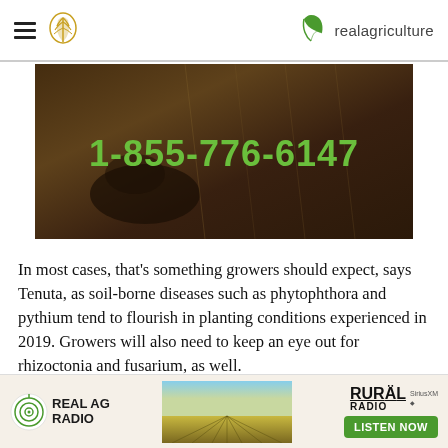realagriculture
[Figure (photo): Dark background image of grain/crops with a hand, overlaid with bold green phone number 1-855-776-6147]
In most cases, that’s something growers should expect, says Tenuta, as soil-borne diseases such as phytophthora and pythium tend to flourish in planting conditions experienced in 2019. Growers will also need to keep an eye out for rhizoctonia and fusarium, as well.
On this episode of RealAgriculture’s Soybean School, Tenuta says growers need to scout early, scout often and look for everything as spring turns
[Figure (advertisement): Real AG Radio advertisement banner with Rural Radio and SiriusXM, featuring a Listen Now button]